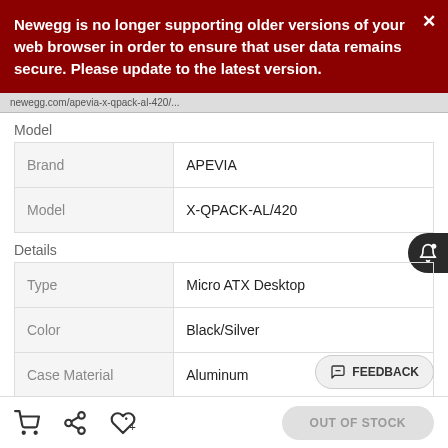Newegg is no longer supporting older versions of your web browser in order to ensure that user data remains secure. Please update to the latest version.
newegg.com/...
Model
| Brand | APEVIA |
| Model | X-QPACK-AL/420 |
Details
| Type | Micro ATX Desktop |
| Color | Black/Silver |
| Case Material | Aluminum |
|  |  |